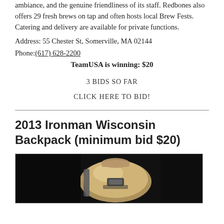ambiance, and the genuine friendliness of its staff. Redbones also offers 29 fresh brews on tap and often hosts local Brew Fests. Catering and delivery are available for private functions.
Address: 55 Chester St, Somerville, MA 02144
Phone:(617) 628-2200
TeamUSA is winning: $20
3 BIDS SO FAR
CLICK HERE TO BID!
2013 Ironman Wisconsin Backpack (minimum bid $20)
[Figure (photo): Photo of a 2013 Ironman Wisconsin backpack, shown against a dark background. The backpack appears to be silver/gold colored with black accents and straps visible.]